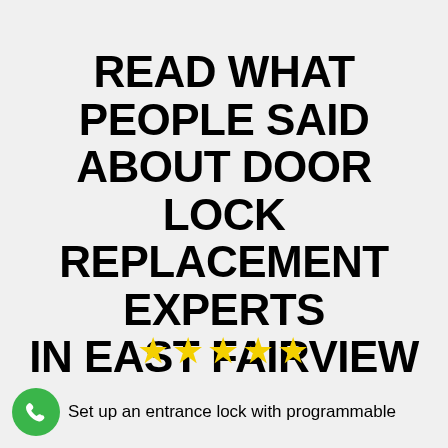READ WHAT PEOPLE SAID ABOUT DOOR LOCK REPLACEMENT EXPERTS IN EAST FAIRVIEW INDUSTRIAL CLIENT REVIEWS
[Figure (infographic): Five gold star rating icons]
Set up an entrance lock with programmable